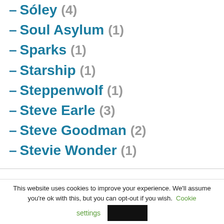– Sóley (4)
– Soul Asylum (1)
– Sparks (1)
– Starship (1)
– Steppenwolf (1)
– Steve Earle (3)
– Steve Goodman (2)
– Stevie Wonder (1)
This website uses cookies to improve your experience. We'll assume you're ok with this, but you can opt-out if you wish. Cookie settings